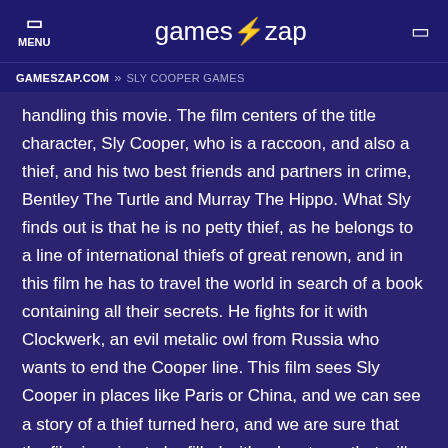MENU | gameszap | [search icon]
GAMESZAP.COM » SLY COOPER GAMES
handling this movie. The film centers of the title character, Sly Cooper, who is a raccoon, and also a thief, and his two best friends and partners in crime, Bentley The Turtle and Murray The Hippo. What Sly finds out is that he is no petty thief, as he belongs to a line of international thiefs of great renown, and in this film he has to travel the world in search of a book containing all their secrets. He fights for it with Clockwerk, an evil metalic owl from Russia who wants to end the Cooper line. This film sees Sly Cooper in places like Paris or China, and we can see a story of a thief turned hero, and we are sure that the film is going to be filled with adventures that will keep every viewer entertained. We have no doubts about it, and we hope the film is going to be successful, which in turn will make playing online Sly Cooper Games even more popular and the chances are will be